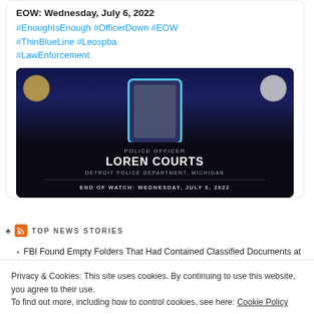EOW: Wednesday, July 6, 2022
#EnoughIsEnough #OfficerDown #EOW #ThinBlueLine #Leospba #LawEnforcement
[Figure (photo): Memorial card for Police Officer Loren Courts, Detroit Police Department, Michigan. End of Watch: Wednesday, July 6, 2022. Shows officer photo in blue-lit frame with badge logos.]
TOP NEWS STORIES
FBI Found Empty Folders That Had Contained Classified Documents at
Privacy & Cookies: This site uses cookies. By continuing to use this website, you agree to their use.
To find out more, including how to control cookies, see here: Cookie Policy
Close and accept